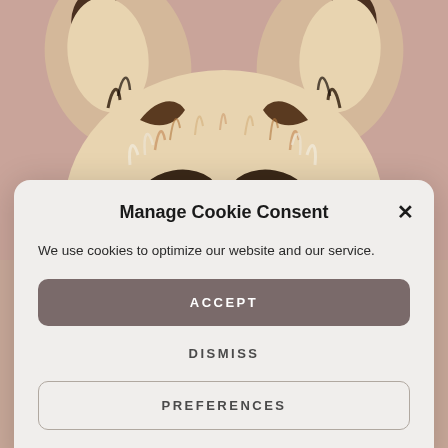[Figure (illustration): Illustrated painting of a raccoon peeking from the top, with pointy ears, black mask markings, white and brown fur, against a muted pink-brown background.]
Manage Cookie Consent
We use cookies to optimize our website and our service.
ACCEPT
DISMISS
PREFERENCES